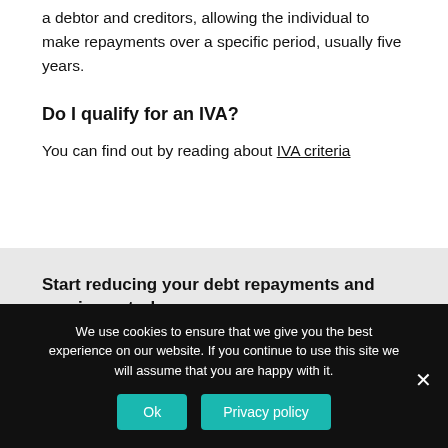a debtor and creditors, allowing the individual to make repayments over a specific period, usually five years.
Do I qualify for an IVA?
You can find out by reading about IVA criteria
Start reducing your debt repayments and regain control...
We use cookies to ensure that we give you the best experience on our website. If you continue to use this site we will assume that you are happy with it.